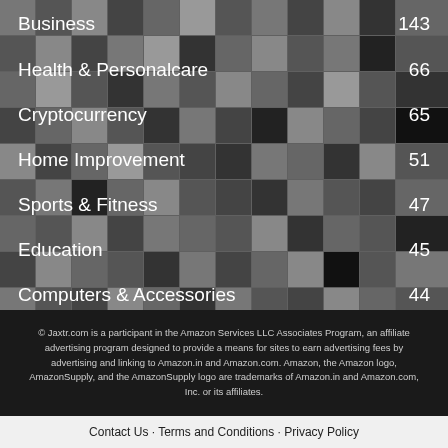[Figure (infographic): Mosaic tile grid background with category labels and counts overlaid. Categories listed: Business 143, Health & Personalcare 66, Cryptocurrency 65, Home Improvement 51, Sports & Fitness 47, Education 45, Computers & Accessories 44.]
© Jaxtr.com is a participant in the Amazon Services LLC Associates Program, an affiliate advertising program designed to provide a means for sites to earn advertising fees by advertising and linking to Amazon.in and Amazon.com. Amazon, the Amazon logo, AmazonSupply, and the AmazonSupply logo are trademarks of Amazon.in and Amazon.com, Inc. or its affiliates.
Contact Us · Terms and Conditions · Privacy Policy